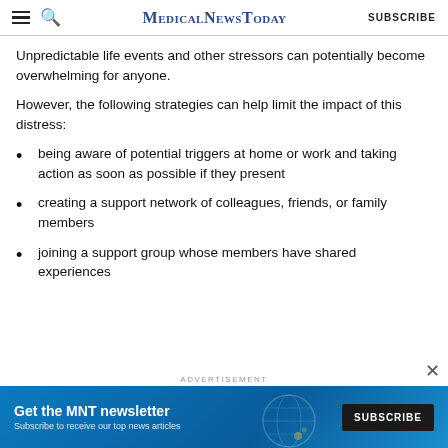MedicalNewsToday SUBSCRIBE
Unpredictable life events and other stressors can potentially become overwhelming for anyone.
However, the following strategies can help limit the impact of this distress:
being aware of potential triggers at home or work and taking action as soon as possible if they present
creating a support network of colleagues, friends, or family members
joining a support group whose members have shared experiences
[Figure (infographic): Advertisement banner for MNT newsletter: 'Get the MNT newsletter – Subscribe to receive our top news articles' with a SUBSCRIBE button, teal/blue background with globe graphic.]